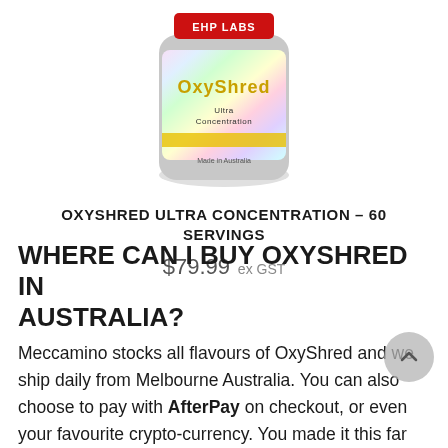[Figure (photo): Product photo of OxyShred Ultra Concentration supplement container, colorful holographic label with red and yellow branding]
OXYSHRED ULTRA CONCENTRATION – 60 SERVINGS
$79.99 ex GST
WHERE CAN I BUY OXYSHRED IN AUSTRALIA?
Meccamino stocks all flavours of OxyShred and we ship daily from Melbourne Australia. You can also choose to pay with AfterPay on checkout, or even your favourite crypto-currency. You made it this far